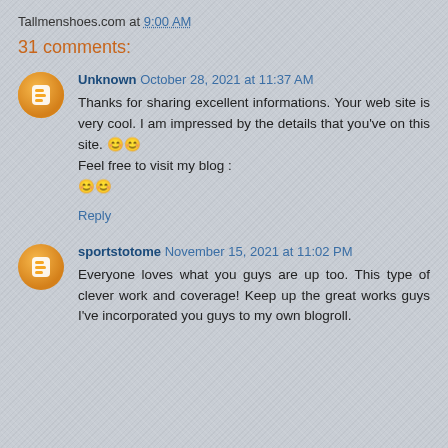Tallmenshoes.com at 9:00 AM
31 comments:
Unknown October 28, 2021 at 11:37 AM
Thanks for sharing excellent informations. Your web site is very cool. I am impressed by the details that you've on this site. 😊😊
Feel free to visit my blog :
😊😊
Reply
sportstotome November 15, 2021 at 11:02 PM
Everyone loves what you guys are up too. This type of clever work and coverage! Keep up the great works guys I've incorporated you guys to my own blogroll.